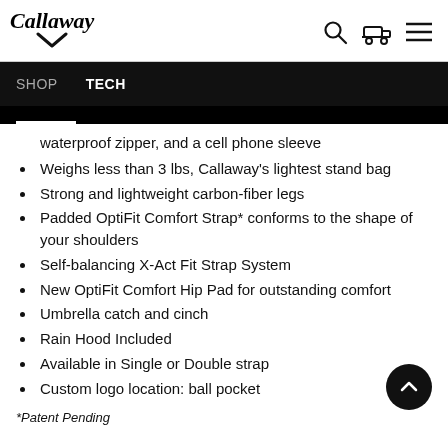Callaway [logo with chevron] | search icon | cart icon | menu icon
SHOP   TECH
waterproof zipper, and a cell phone sleeve
Weighs less than 3 lbs, Callaway's lightest stand bag
Strong and lightweight carbon-fiber legs
Padded OptiFit Comfort Strap* conforms to the shape of your shoulders
Self-balancing X-Act Fit Strap System
New OptiFit Comfort Hip Pad for outstanding comfort
Umbrella catch and cinch
Rain Hood Included
Available in Single or Double strap
Custom logo location: ball pocket
*Patent Pending